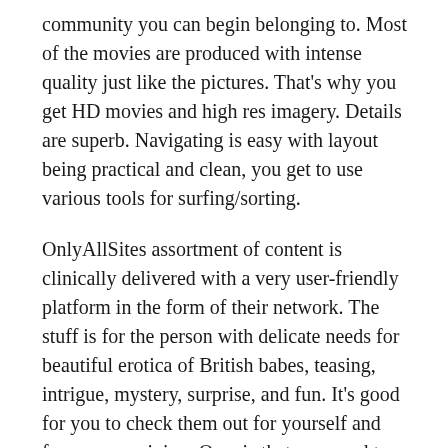community you can begin belonging to. Most of the movies are produced with intense quality just like the pictures. That's why you get HD movies and high res imagery. Details are superb. Navigating is easy with layout being practical and clean, you get to use various tools for surfing/sorting.
OnlyAllSites assortment of content is clinically delivered with a very user-friendly platform in the form of their network. The stuff is for the person with delicate needs for beautiful erotica of British babes, teasing, intrigue, mystery, surprise, and fun. It's good for you to check them out for yourself and form your opinion. Ours is that you need to sign up!